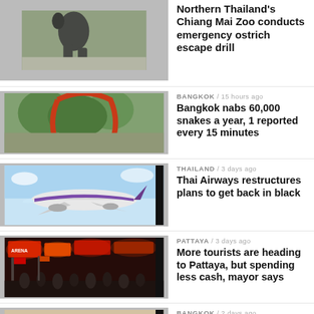[Figure (photo): Partial image of an ostrich/large bird on a street]
Northern Thailand's Chiang Mai Zoo conducts emergency ostrich escape drill
[Figure (photo): Street scene with red curved structure and trees]
BANGKOK / 15 hours ago
Bangkok nabs 60,000 snakes a year, 1 reported every 15 minutes
[Figure (photo): Thai Airways airplane in flight against blue sky]
THAILAND / 3 days ago
Thai Airways restructures plans to get back in black
[Figure (photo): Pattaya night street scene with colorful signs and crowds]
PATTAYA / 3 days ago
More tourists are heading to Pattaya, but spending less cash, mayor says
[Figure (photo): Collapsed floor at a police station with overturned furniture]
BANGKOK / 2 days ago
Floor collapses at Hua Mark Police Station in Bangkok